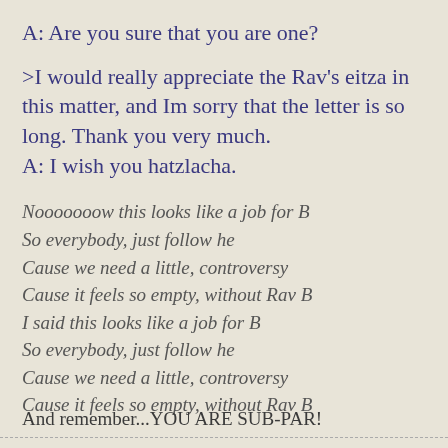A: Are you sure that you are one?
>I would really appreciate the Rav's eitza in this matter, and Im sorry that the letter is so long. Thank you very much.
A: I wish you hatzlacha.
Nooooooow this looks like a job for B
So everybody, just follow he
Cause we need a little, controversy
Cause it feels so empty, without Rav B
I said this looks like a job for B
So everybody, just follow he
Cause we need a little, controversy
Cause it feels so empty, without Rav B
And remember...YOU ARE SUB-PAR!